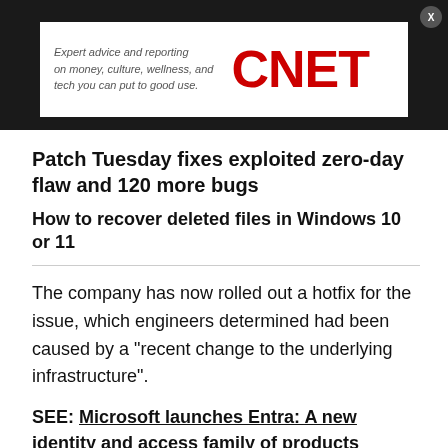[Figure (logo): CNET advertisement banner with tagline: Expert advice and reporting on money, culture, wellness, and tech you can put to good use.]
Patch Tuesday fixes exploited zero-day flaw and 120 more bugs
How to recover deleted files in Windows 10 or 11
The company has now rolled out a hotfix for the issue, which engineers determined had been caused by a "recent change to the underlying infrastructure".
SEE: Microsoft launches Entra: A new identity and access family of products